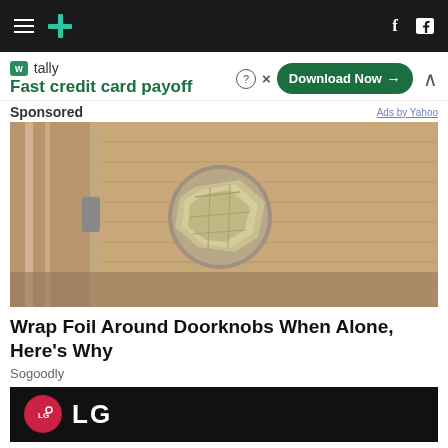HuffPost navigation bar with hamburger menu, logo, Facebook and Twitter icons
[Figure (screenshot): Advertisement banner: tally - Fast credit card payoff with Download Now button]
Sponsored
Ads by Yahoo
[Figure (photo): Photo of a door knob wrapped in aluminum foil on a beige/tan door]
Wrap Foil Around Doorknobs When Alone, Here's Why
Sogoodly
[Figure (logo): LG logo on dark background - bottom advertisement]